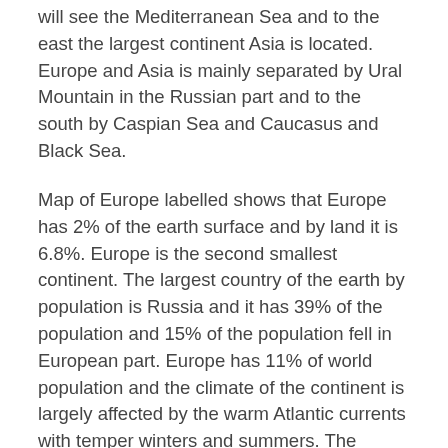will see the Mediterranean Sea and to the east the largest continent Asia is located. Europe and Asia is mainly separated by Ural Mountain in the Russian part and to the south by Caspian Sea and Caucasus and Black Sea.
Map of Europe labelled shows that Europe has 2% of the earth surface and by land it is 6.8%. Europe is the second smallest continent. The largest country of the earth by population is Russia and it has 39% of the population and 15% of the population fell in European part. Europe has 11% of world population and the climate of the continent is largely affected by the warm Atlantic currents with temper winters and summers. The weather changes of winter and summer is much noticeable here.
Map of the European countries shows that the culture of Europe affected all other cultures of the world. Western